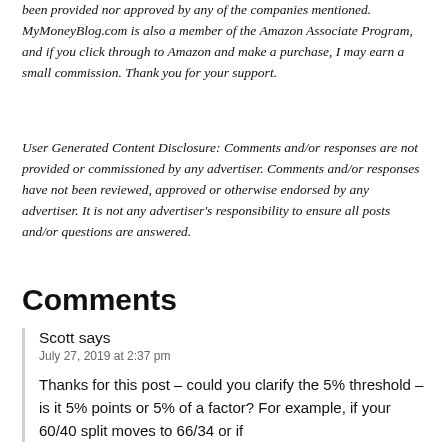been provided nor approved by any of the companies mentioned. MyMoneyBlog.com is also a member of the Amazon Associate Program, and if you click through to Amazon and make a purchase, I may earn a small commission. Thank you for your support.
User Generated Content Disclosure: Comments and/or responses are not provided or commissioned by any advertiser. Comments and/or responses have not been reviewed, approved or otherwise endorsed by any advertiser. It is not any advertiser's responsibility to ensure all posts and/or questions are answered.
Comments
Scott says
July 27, 2019 at 2:37 pm
Thanks for this post – could you clarify the 5% threshold – is it 5% points or 5% of a factor? For example, if your 60/40 split moves to 66/34 or if